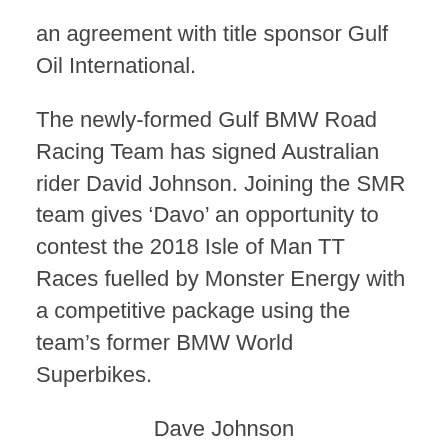an agreement with title sponsor Gulf Oil International.
The newly-formed Gulf BMW Road Racing Team has signed Australian rider David Johnson. Joining the SMR team gives ‘Davo’ an opportunity to contest the 2018 Isle of Man TT Races fuelled by Monster Energy with a competitive package using the team’s former BMW World Superbikes.
Dave Johnson
“I’m very excited to be back racing on a BMW with the full technical support of SMR and BMW Motorrad Motosport. The bikes will be as good as they can possibly be, and I am confident this package can push me to the next level at the TT.”
“We also have the exciting challenge of the North West 200 before the TT. It will be my first competitive outing on